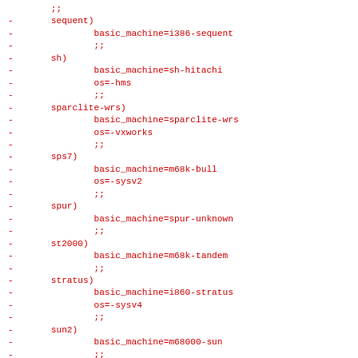;;
-       sequent)
-               basic_machine=i386-sequent
-               ;;
-       sh)
-               basic_machine=sh-hitachi
-               os=-hms
-               ;;
-       sparclite-wrs)
-               basic_machine=sparclite-wrs
-               os=-vxworks
-               ;;
-       sps7)
-               basic_machine=m68k-bull
-               os=-sysv2
-               ;;
-       spur)
-               basic_machine=spur-unknown
-               ;;
-       st2000)
-               basic_machine=m68k-tandem
-               ;;
-       stratus)
-               basic_machine=i860-stratus
-               os=-sysv4
-               ;;
-       sun2)
-               basic_machine=m68000-sun
-               ;;
-       sun2os3)
-               basic_machine=m68000-sun